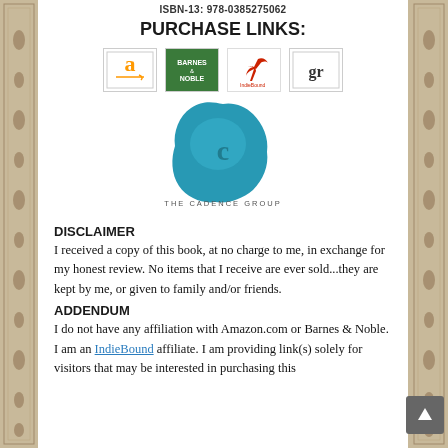ISBN-13: 978-0385275062
PURCHASE LINKS:
[Figure (logo): Row of four purchase link logos: Amazon (a), Barnes & Noble (green), IndieBound (red bird), Goodreads (gr)]
[Figure (logo): The Cadence Group blue wax seal logo with text THE CADENCE GROUP below]
DISCLAIMER
I received a copy of this book, at no charge to me, in exchange for my honest review. No items that I receive are ever sold...they are kept by me, or given to family and/or friends.
ADDENDUM
I do not have any affiliation with Amazon.com or Barnes & Noble. I am an IndieBound affiliate. I am providing link(s) solely for visitors that may be interested in purchasing this